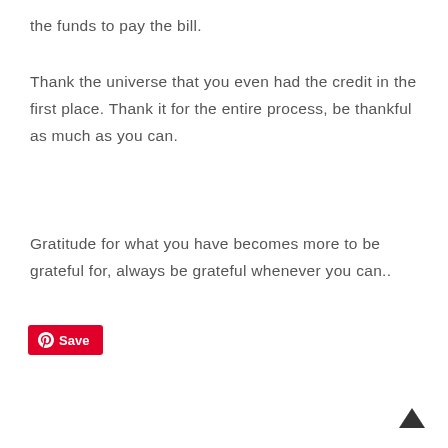the funds to pay the bill.
Thank the universe that you even had the credit in the first place. Thank it for the entire process, be thankful as much as you can.
Gratitude for what you have becomes more to be grateful for, always be grateful whenever you can..